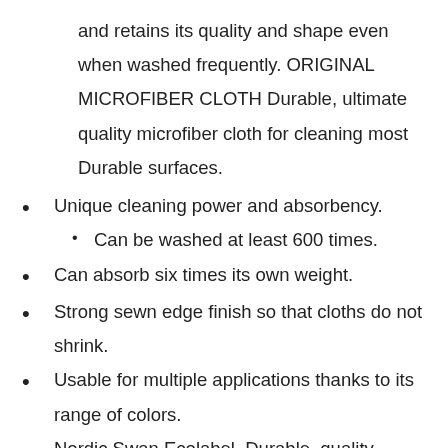and retains its quality and shape even when washed frequently. ORIGINAL MICROFIBER CLOTH Durable, ultimate quality microfiber cloth for cleaning most Durable surfaces.
Unique cleaning power and absorbency.
Can be washed at least 600 times.
Can absorb six times its own weight.
Strong sewn edge finish so that cloths do not shrink.
Usable for multiple applications thanks to its range of colors.
Nordic Swan Ecolabel. Durable, quality